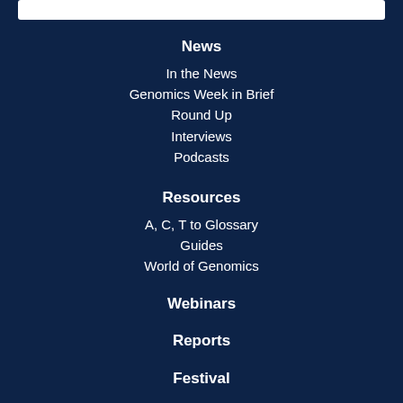News
In the News
Genomics Week in Brief
Round Up
Interviews
Podcasts
Resources
A, C, T to Glossary
Guides
World of Genomics
Webinars
Reports
Festival